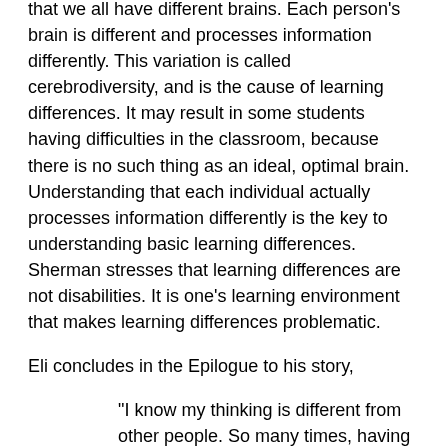that we all have different brains. Each person's brain is different and processes information differently. This variation is called cerebrodiversity, and is the cause of learning differences. It may result in some students having difficulties in the classroom, because there is no such thing as an ideal, optimal brain. Understanding that each individual actually processes information differently is the key to understanding basic learning differences. Sherman stresses that learning differences are not disabilities. It is one's learning environment that makes learning differences problematic.
Eli concludes in the Epilogue to his story,
"I know my thinking is different from other people. So many times, having a different thinking pattern gets me in trouble and it definitely causes me to have to work harder. Other times, being different is like having a gift. Working with machines is one of my many wonderful gifts …."
"It is my hope that teachers, parents and other students will realize that everyone has his or her